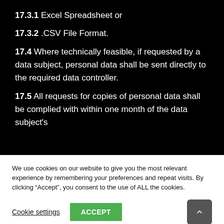17.3.1 Excel Spreadsheet or
17.3.2 .CSV File Format.
17.4 Where technically feasible, if requested by a data subject, personal data shall be sent directly to the required data controller.
17.5 All requests for copies of personal data shall be complied with within one month of the data subject's
We use cookies on our website to give you the most relevant experience by remembering your preferences and repeat visits. By clicking “Accept”, you consent to the use of ALL the cookies.
Cookie settings | ACCEPT